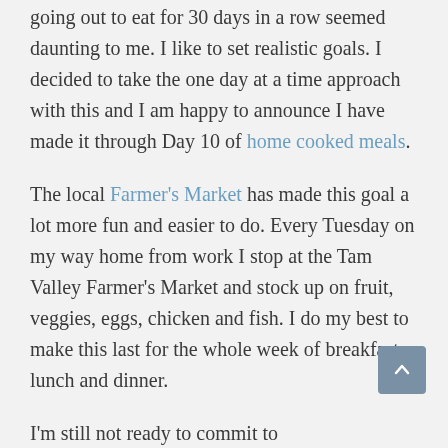going out to eat for 30 days in a row seemed daunting to me. I like to set realistic goals. I decided to take the one day at a time approach with this and I am happy to announce I have made it through Day 10 of home cooked meals.
The local Farmer's Market has made this goal a lot more fun and easier to do. Every Tuesday on my way home from work I stop at the Tam Valley Farmer's Market and stock up on fruit, veggies, eggs, chicken and fish. I do my best to make this last for the whole week of breakfast, lunch and dinner.
I'm still not ready to commit to